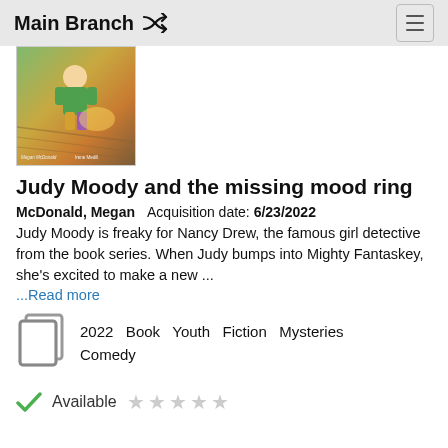Main Branch
[Figure (photo): Book cover of 'Judy Moody and the missing mood ring' showing a child in a green shirt, with illustrated art style. Author: Megan McDonald, Illustrator: Irene Medill.]
Judy Moody and the missing mood ring
McDonald, Megan   Acquisition date: 6/23/2022
Judy Moody is freaky for Nancy Drew, the famous girl detective from the book series. When Judy bumps into Mighty Fantaskey, she's excited to make a new ...
...Read more
[Figure (illustration): Book/copy icon representing a physical book item]
2022   Book   Youth   Fiction   Mysteries   Comedy
Available